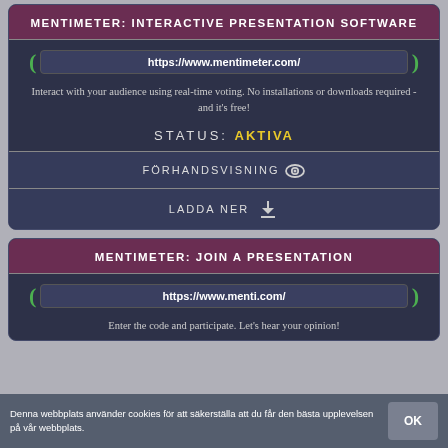MENTIMETER: INTERACTIVE PRESENTATION SOFTWARE
https://www.mentimeter.com/
Interact with your audience using real-time voting. No installations or downloads required - and it's free!
STATUS: AKTIVA
FÖRHANDSVISNING
LADDA NER
MENTIMETER: JOIN A PRESENTATION
https://www.menti.com/
Enter the code and participate. Let's hear your opinion!
Denna webbplats använder cookies för att säkerställa att du får den bästa upplevelsen på vår webbplats.